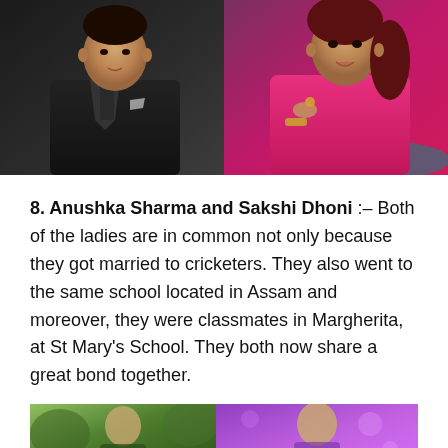[Figure (photo): Two people seated; man in black suit on the left, woman in pink dress on the right, appearing to be on a talk show set.]
8. Anushka Sharma and Sakshi Dhoni :– Both of the ladies are in common not only because they got married to cricketers. They also went to the same school located in Assam and moreover, they were classmates in Margherita, at St Mary's School. They both now share a great bond together.
[Figure (photo): Two people in a collage; left side shows a person outdoors with green background, right side shows a person under purple/pink lighting.]